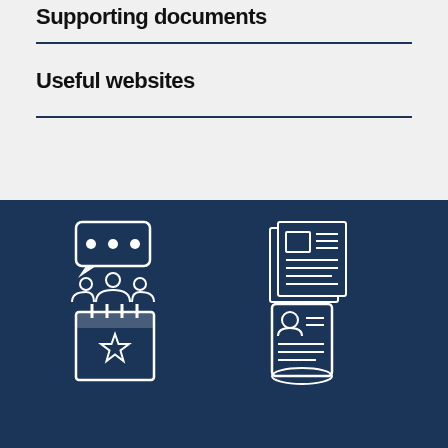Supporting documents
Useful websites
[Figure (illustration): Social media icon: speech bubble above a group of people figures, white outline on dark navy background]
Social media
[Figure (illustration): News icon: newspaper with headline image and lines, white outline on dark navy background]
News
[Figure (illustration): Events icon: calendar with a star, white outline on dark navy background]
Events
[Figure (illustration): Jobs icon: scroll/document with person silhouette and text lines, white outline on dark navy background]
Jobs